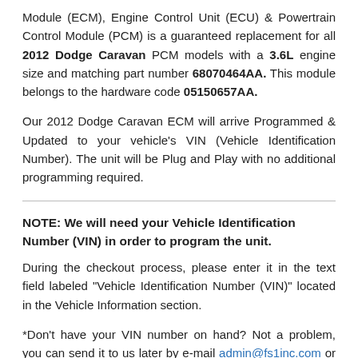Module (ECM), Engine Control Unit (ECU) & Powertrain Control Module (PCM) is a guaranteed replacement for all 2012 Dodge Caravan PCM models with a 3.6L engine size and matching part number 68070464AA. This module belongs to the hardware code 05150657AA.
Our 2012 Dodge Caravan ECM will arrive Programmed & Updated to your vehicle's VIN (Vehicle Identification Number). The unit will be Plug and Play with no additional programming required.
NOTE: We will need your Vehicle Identification Number (VIN) in order to program the unit.
During the checkout process, please enter it in the text field labeled "Vehicle Identification Number (VIN)" located in the Vehicle Information section.
*Don't have your VIN number on hand? Not a problem, you can send it to us later by e-mail admin@fs1inc.com or by